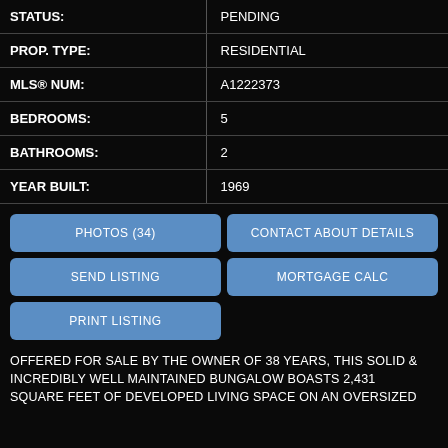| Field | Value |
| --- | --- |
| STATUS: | PENDING |
| PROP. TYPE: | RESIDENTIAL |
| MLS® NUM: | A1222373 |
| BEDROOMS: | 5 |
| BATHROOMS: | 2 |
| YEAR BUILT: | 1969 |
PHOTOS (34)
CONTACT ABOUT DETAILS
SEND LISTING
MORTGAGE CALC
PRINT LISTING
OFFERED FOR SALE BY THE OWNER OF 38 YEARS, THIS SOLID & INCREDIBLY WELL MAINTAINED BUNGALOW BOASTS 2,431 SQUARE FEET OF DEVELOPED LIVING SPACE ON AN OVERSIZED